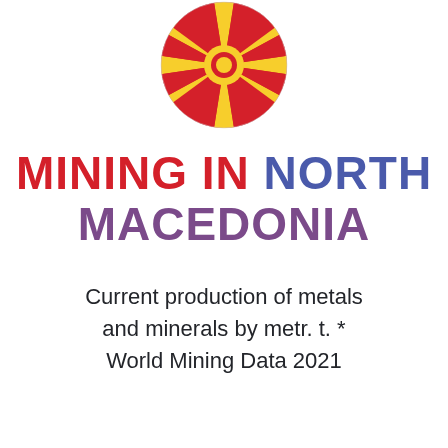[Figure (illustration): Flag of North Macedonia — red background circle with yellow sun and rays radiating outward]
MINING IN NORTH MACEDONIA
Current production of metals and minerals by metr. t. * World Mining Data 2021